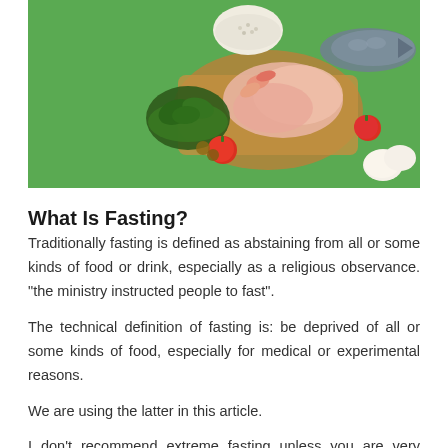[Figure (photo): Overhead photo of various foods on a green background: raw chicken/meat on a wooden cutting board, shrimp, leafy greens (kale) in a bowl, tomatoes, a bowl of grain/quinoa, and eggs.]
What Is Fasting?
Traditionally fasting is defined as abstaining from all or some kinds of food or drink, especially as a religious observance. “the ministry instructed people to fast”.
The technical definition of fasting is: be deprived of all or some kinds of food, especially for medical or experimental reasons.
We are using the latter in this article.
I don’t recommend extreme fasting unless you are very experienced, well researched